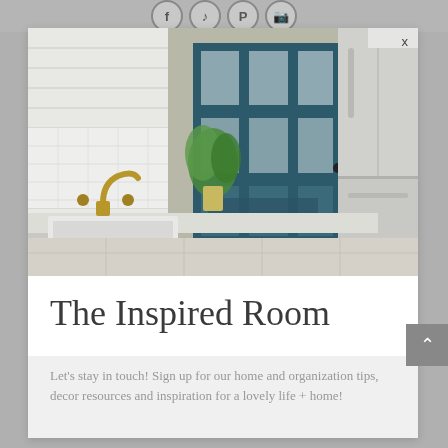Social media icons: f, music note, Pinterest, Instagram
[Figure (photo): Kitchen interior photo showing a white farmhouse sink with antique brass faucet, white subway tile backsplash, a dark teal glass-paned door with grid pattern, stainless steel French door refrigerator, white cabinetry, a small green plant on the counter, and pink flowers in the foreground.]
The Inspired Room
Let's stay in touch! Sign up for our home and organization tips, decor resources and inspiration for a lovely life + home!